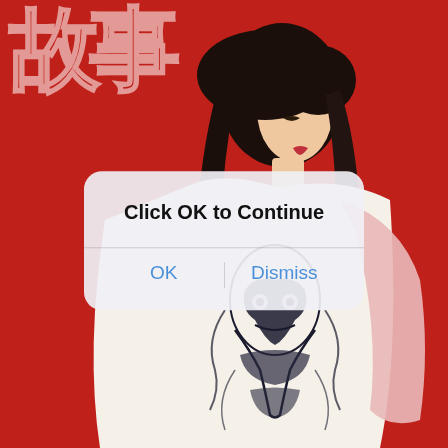[Figure (photo): A young East Asian woman with long dark hair, wearing a white graphic print top and soft pink wrap, standing in front of a red background with partial Chinese text/graphic visible. She is posed in profile.]
[Figure (screenshot): iOS-style alert dialog overlay with rounded white/frosted rectangle. Title: 'Click OK to Continue'. Two buttons: 'OK' on left and 'Dismiss' on right, both in blue.]
Click OK to Continue
OK
Dismiss